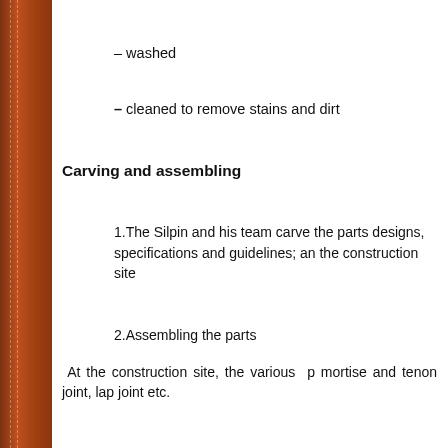– washed
– cleaned to remove stains and dirt
Carving and assembling
1.The Silpin and his team carve the parts designs, specifications and guidelines; and the construction site
2.Assembling the parts
At the construction site, the various p mortise and tenon joint, lap joint etc.
While doing so care is taken to ensure allow space for stones to expand in heat moving from its position
[Figure (illustration): Three decorative stone column capitals with carved detailing]